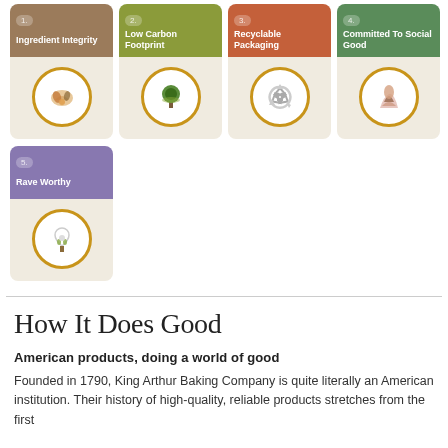[Figure (infographic): Five illustrated cards in a 4+1 grid layout. Each card has a colored top section with a number badge and label, and a beige bottom section with a circular icon. Card 1: brown top, Ingredient Integrity, food/ingredients icon. Card 2: olive green top, Low Carbon Footprint, tree/plant icon. Card 3: rust/orange top, Recyclable Packaging, recycling arrows icon. Card 4: green top, Committed To Social Good, hands/people icon. Card 5 (second row): purple top, Rave Worthy, heart/plant icon.]
How It Does Good
American products, doing a world of good
Founded in 1790, King Arthur Baking Company is quite literally an American institution. Their history of high-quality, reliable products stretches from the first